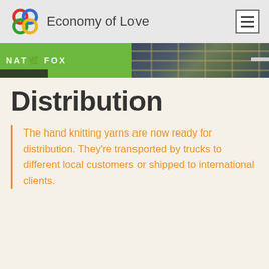Economy of Love
[Figure (photo): Photo strip showing a green board with text 'Nature Fox' and a person wearing a plaid shirt]
Distribution
The hand knitting yarns are now ready for distribution. They're transported by trucks to different local customers or shipped to international clients.